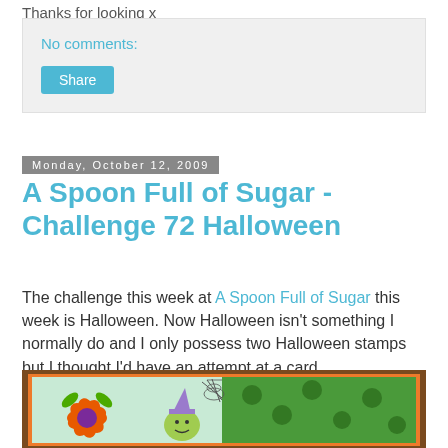Thanks for looking x
No comments:
Share
Monday, October 12, 2009
A Spoon Full of Sugar - Challenge 72 Halloween
The challenge this week at A Spoon Full of Sugar this week is Halloween. Now Halloween isn't something I normally do and I only possess two Halloween stamps but I thought I'd have an attempt at a card.
[Figure (photo): A handmade Halloween card featuring an orange flower embellishment with a purple center, a green cartoon witch character wearing a purple hat, a spider web stamp, and green Halloween-themed patterned paper background.]